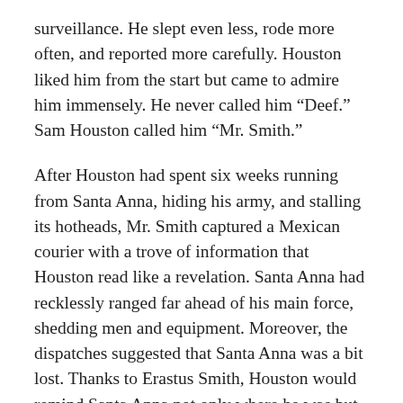surveillance. He slept even less, rode more often, and reported more carefully. Houston liked him from the start but came to admire him immensely. He never called him “Deef.” Sam Houston called him “Mr. Smith.”
After Houston had spent six weeks running from Santa Anna, hiding his army, and stalling its hotheads, Mr. Smith captured a Mexican courier with a trove of information that Houston read like a revelation. Santa Anna had recklessly ranged far ahead of his main force, shedding men and equipment. Moreover, the dispatches suggested that Santa Anna was a bit lost. Thanks to Erastus Smith, Houston would remind Santa Anna not only where he was but where everyone else was too.
That happened on April 21, 1836, on the banks of the San Jacinto River. The battle there lasted eighteen minutes and ended with a Texan victory so complete that it gave birth to something that became known as Texas. But Mr. Smith...